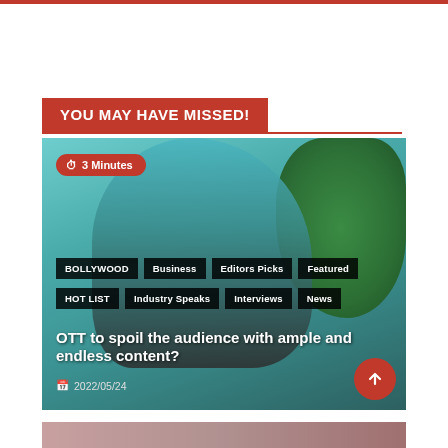YOU MAY HAVE MISSED!
[Figure (photo): News article card showing a zombie-like male figure against a teal sky with trees. Contains category tags (BOLLYWOOD, Business, Editors Picks, Featured, HOT LIST, Industry Speaks, Interviews, News), article title 'OTT to spoil the audience with ample and endless content?', date '2022/05/24', and a '3 Minutes' reading time badge.]